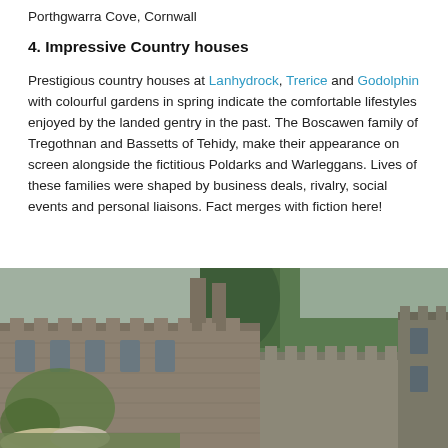[Figure (photo): Top strip of green foliage/garden image, cropped at top of page]
Porthgwarra Cove, Cornwall
4. Impressive Country houses
Prestigious country houses at Lanhydrock, Trerice and Godolphin with colourful gardens in spring indicate the comfortable lifestyles enjoyed by the landed gentry in the past. The Boscawen family of Tregothnan and Bassetts of Tehidy, make their appearance on screen alongside the fictitious Poldarks and Warleggans. Lives of these families were shaped by business deals, rivalry, social events and personal liaisons. Fact merges with fiction here!
[Figure (photo): Photograph of a historic stone country house with chimneys, ivy-covered walls, arched windows, and trees in the background — likely Lanhydrock or similar Cornish country house]